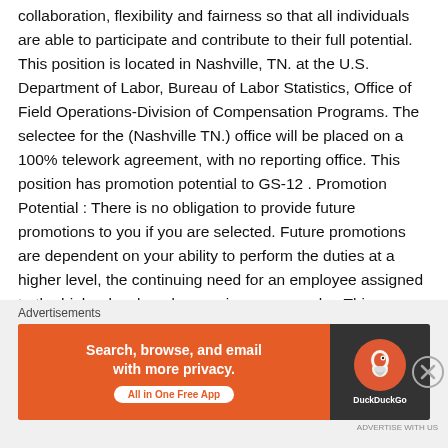collaboration, flexibility and fairness so that all individuals are able to participate and contribute to their full potential. This position is located in Nashville, TN. at the U.S. Department of Labor, Bureau of Labor Statistics, Office of Field Operations-Division of Compensation Programs. The selectee for the (Nashville TN.) office will be placed on a 100% telework agreement, with no reporting office. This position has promotion potential to GS-12 . Promotion Potential : There is no obligation to provide future promotions to you if you are selected. Future promotions are dependent on your ability to perform the duties at a higher level, the continuing need for an employee assigned to the higher level, and supervisory approval. – This position is inside the bargaining unit
Advertisements
[Figure (infographic): DuckDuckGo advertisement banner. Left side orange background with text 'Search, browse, and email with more privacy.' and 'All in One Free App' button. Right side dark background with DuckDuckGo logo.]